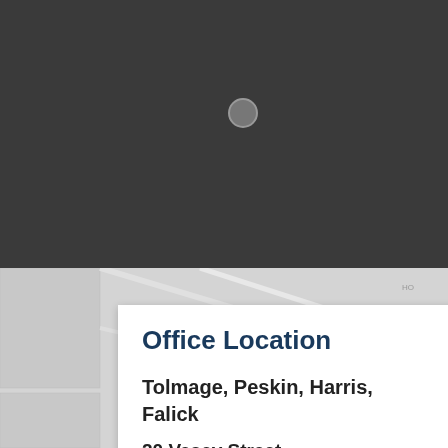[Figure (map): Dark-themed street map with a grey location pin dot in the upper portion, transitioning to a light grey street map in the lower portion showing city blocks and streets.]
Office Location
Tolmage, Peskin, Harris, Falick
20 Vesey Street